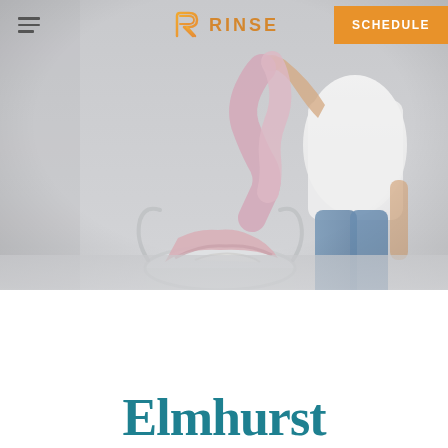[Figure (photo): Website screenshot of Rinse laundry service. Header with hamburger menu on left, Rinse logo (stylized R in orange/gold) with text RINSE in center, orange SCHEDULE button on right. Background photo shows a woman in white top and jeans holding up a pink knit garment over a laundry basket filled with clothes, against a light gray background.]
RINSE | SCHEDULE
Elmhurst